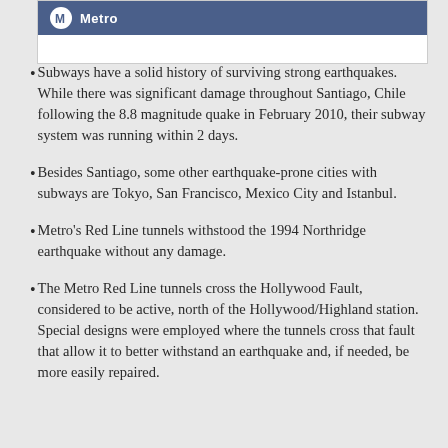[Figure (logo): Metro logo banner with circular M icon and 'Metro' text on dark blue background]
Subways have a solid history of surviving strong earthquakes. While there was significant damage throughout Santiago, Chile following the 8.8 magnitude quake in February 2010, their subway system was running within 2 days.
Besides Santiago, some other earthquake-prone cities with subways are Tokyo, San Francisco, Mexico City and Istanbul.
Metro's Red Line tunnels withstood the 1994 Northridge earthquake without any damage.
The Metro Red Line tunnels cross the Hollywood Fault, considered to be active, north of the Hollywood/Highland station. Special designs were employed where the tunnels cross that fault that allow it to better withstand an earthquake and, if needed, be more easily repaired.